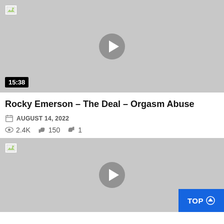[Figure (screenshot): Video thumbnail placeholder with play button and duration badge 15:38, gray background]
Rocky Emerson – The Deal – Orgasm Abuse
AUGUST 14, 2022
2.4K  150  1
[Figure (screenshot): Second video thumbnail placeholder with play button, gray background, and TOP button in bottom right]